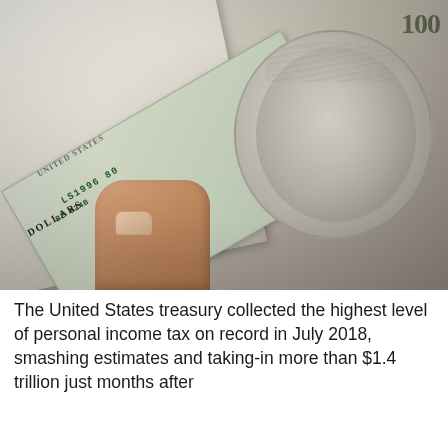[Figure (photo): Close-up photograph of a hand holding a thick stack of $100 US dollar bills (Benjamin Franklin notes), fanned slightly, showing the portrait of Franklin, green treasury seal, serial number, and edges of the stacked bills.]
The United States treasury collected the highest level of personal income tax on record in July 2018, smashing estimates and taking-in more than $1.4 trillion just months after